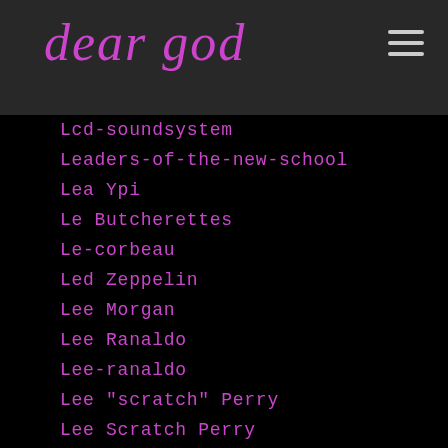dear god
Lcd-soundsystem
Leaders-of-the-new-school
Lea Ypi
Le Butcherettes
Le-corbeau
Led Zeppelin
Lee Morgan
Lee Ranaldo
Lee-ranaldo
Lee "scratch" Perry
Lee Scratch Perry
Lee-strasberg
Lemmy Kilmister
Lemmy-kilmister
Leni-riefenstahl
Leonard Chess
Leonard Cohen